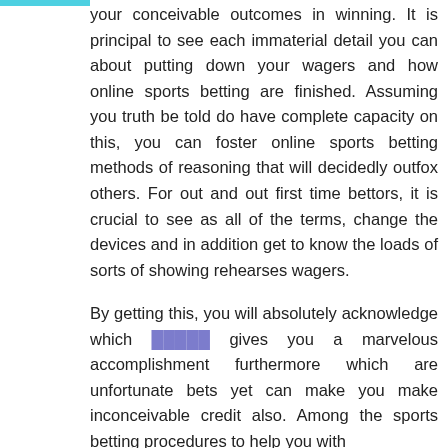your conceivable outcomes in winning. It is principal to see each immaterial detail you can about putting down your wagers and how online sports betting are finished. Assuming you truth be told do have complete capacity on this, you can foster online sports betting methods of reasoning that will decidedly outfox others. For out and out first time bettors, it is crucial to see as all of the terms, change the devices and in addition get to know the loads of sorts of showing rehearses wagers.

By getting this, you will absolutely acknowledge which [link] gives you a marvelous accomplishment furthermore which are unfortunate bets yet can make you make inconceivable credit also. Among the sports betting procedures to help you with